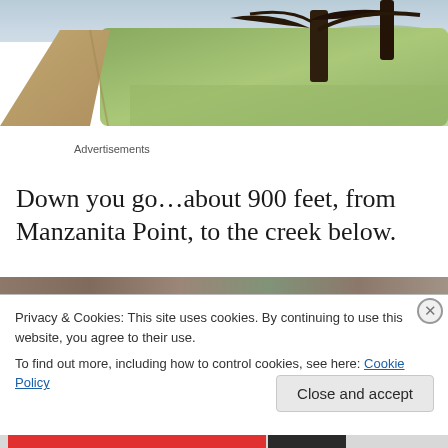[Figure (photo): Outdoor landscape photo showing a dirt trail winding through green grassy hills with oak trees in the background under an overcast sky]
Advertisements
Down you go…about 900 feet, from Manzanita Point, to the creek below.
Privacy & Cookies: This site uses cookies. By continuing to use this website, you agree to their use.
To find out more, including how to control cookies, see here: Cookie Policy
Close and accept